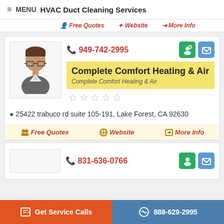≡ MENU  HVAC Duct Cleaning Services
Free Quotes   Website   More Info
📞 949-742-2995
Complete Comfort Heating & Air
Complete Comfort Heating & Air
☆☆☆☆☆
25422 trabuco rd suite 105-191, Lake Forest, CA 92630
Free Quotes   Website   More Info
📞 831-636-0766
Get Service Calls   888-629-2995